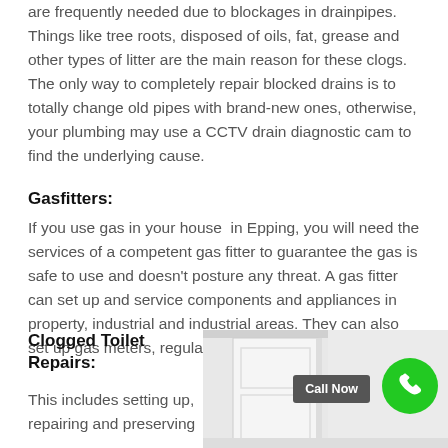are frequently needed due to blockages in drainpipes. Things like tree roots, disposed of oils, fat, grease and other types of litter are the main reason for these clogs. The only way to completely repair blocked drains is to totally change old pipes with brand-new ones, otherwise, your plumbing may use a CCTV drain diagnostic cam to find the underlying cause.
Gasfitters:
If you use gas in your house  in Epping, you will need the services of a competent gas fitter to guarantee the gas is safe to use and doesn't posture any threat. A gas fitter can set up and service components and appliances in property, industrial and industrial areas. They can also set up gas meters, regulators, valves and burners.
Clogged Toilet Repairs:
This includes setting up, repairing and preserving
[Figure (photo): Photo of a white door/room interior with a 'Call Now' button overlay and a green phone icon circle button]